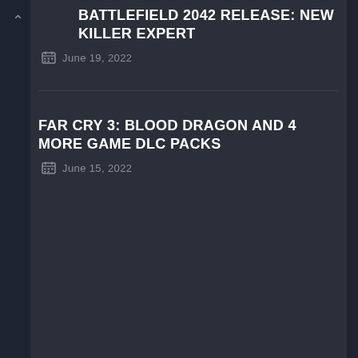BATTLEFIELD 2042 RELEASE: NEW KILLER EXPERT
June 19, 2022
FAR CRY 3: BLOOD DRAGON AND 4 MORE GAME DLC PACKS
June 15, 2022